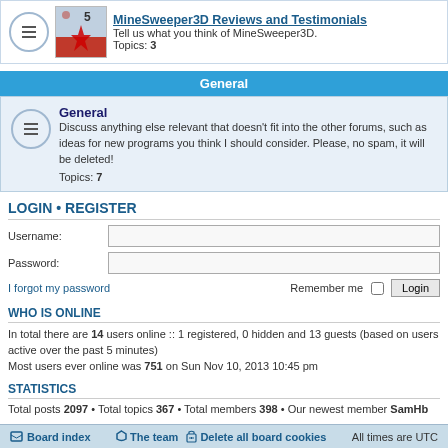MineSweeper3D Reviews and Testimonials – Tell us what you think of MineSweeper3D. Topics: 3
General
General – Discuss anything else relevant that doesn't fit into the other forums, such as ideas for new programs you think I should consider. Please, no spam, it will be deleted! Topics: 7
LOGIN • REGISTER
Username:
Password:
I forgot my password
Remember me  Login
WHO IS ONLINE
In total there are 14 users online :: 1 registered, 0 hidden and 13 guests (based on users active over the past 5 minutes)
Most users ever online was 751 on Sun Nov 10, 2013 10:45 pm
STATISTICS
Total posts 2097 • Total topics 367 • Total members 398 • Our newest member SamHb
Board index  The team  Delete all board cookies  All times are UTC